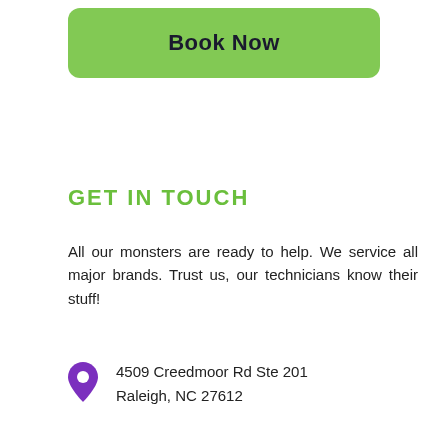[Figure (other): Green rounded rectangle button labeled 'Book Now']
GET IN TOUCH
All our monsters are ready to help. We service all major brands. Trust us, our technicians know their stuff!
4509 Creedmoor Rd Ste 201
Raleigh, NC 27612